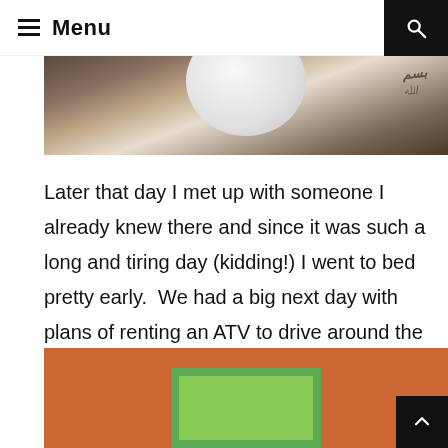Menu
[Figure (photo): Partial view of a white balloon or lamp shade against a dark background with handwriting/markings visible on the right side]
Later that day I met up with someone I already knew there and since it was such a long and tiring day (kidding!) I went to bed pretty early.  We had a big next day with plans of renting an ATV to drive around the island.  We set out early(ish) the next morning for a day of exploring.
[Figure (photo): Bottom portion of an orange wall with a green-framed window visible]